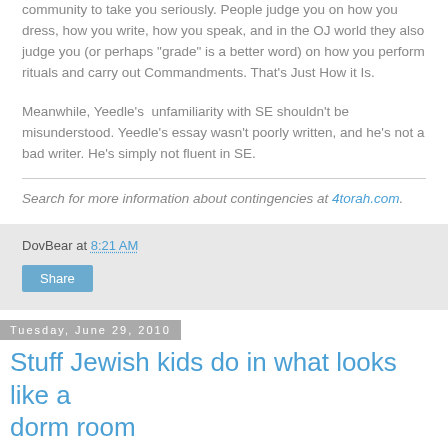community to take you seriously. People judge you on how you dress, how you write, how you speak, and in the OJ world they also judge you (or perhaps "grade" is a better word) on how you perform rituals and carry out Commandments. That's Just How it Is.
Meanwhile, Yeedle's unfamiliarity with SE shouldn't be misunderstood. Yeedle's essay wasn't poorly written, and he's not a bad writer. He's simply not fluent in SE.
Search for more information about contingencies at 4torah.com.
DovBear at 8:21 AM
Share
Tuesday, June 29, 2010
Stuff Jewish kids do in what looks like a dorm room